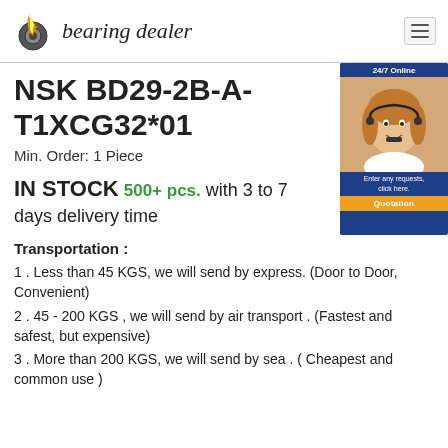bearing dealer
NSK BD29-2B-A-T1XCG32*01
Min. Order: 1 Piece
IN STOCK 500+ pcs. with 3 to 7 days delivery time
[Figure (photo): Customer service advisor photo with 24/7 Online badge and Quotation button]
Transportation :
1 . Less than 45 KGS, we will send by express. (Door to Door, Convenient)
2 . 45 - 200 KGS , we will send by air transport . (Fastest and safest, but expensive)
3 . More than 200 KGS, we will send by sea . ( Cheapest and common use )